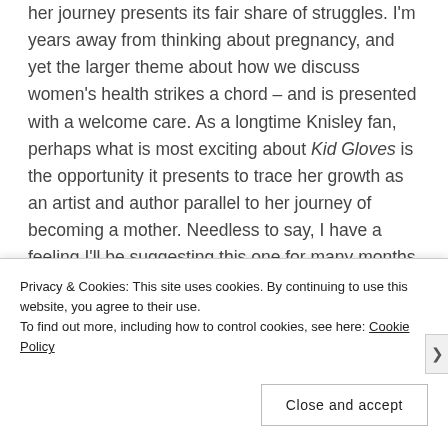her journey presents its fair share of struggles. I'm years away from thinking about pregnancy, and yet the larger theme about how we discuss women's health strikes a chord – and is presented with a welcome care. As a longtime Knisley fan, perhaps what is most exciting about Kid Gloves is the opportunity it presents to trace her growth as an artist and author parallel to her journey of becoming a mother. Needless to say, I have a feeling I'll be suggesting this one for many months to come.
Privacy & Cookies: This site uses cookies. By continuing to use this website, you agree to their use.
To find out more, including how to control cookies, see here: Cookie Policy